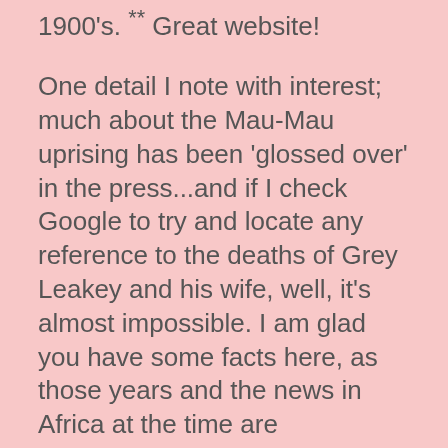1900's. ** Great website!
One detail I note with interest; much about the Mau-Mau uprising has been 'glossed over' in the press...and if I check Google to try and locate any reference to the deaths of Grey Leakey and his wife, well, it's almost impossible. I am glad you have some facts here, as those years and the news in Africa at the time are particularly unknown to Americans today. I haven't been to Africa yet, but one never knows! Thank you for bringing so much of the history to life. I have been slowly working through the biographies of many europeans who moved to Kenya around 1900. So it's like reading about 'old friends' when I come across the names over